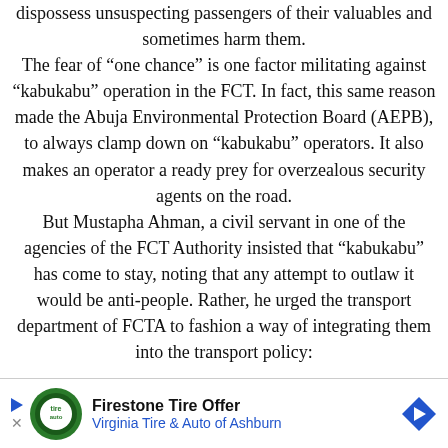dispossess unsuspecting passengers of their valuables and sometimes harm them. The fear of “one chance” is one factor militating against “kabukabu” operation in the FCT. In fact, this same reason made the Abuja Environmental Protection Board (AEPB), to always clamp down on “kabukabu” operators. It also makes an operator a ready prey for overzealous security agents on the road. But Mustapha Ahman, a civil servant in one of the agencies of the FCT Authority insisted that “kabukabu” has come to stay, noting that any attempt to outlaw it would be anti-people. Rather, he urged the transport department of FCTA to fashion a way of integrating them into the transport policy:
[Figure (other): Advertisement banner: Firestone Tire Offer - Virginia Tire & Auto of Ashburn, with green circular logo and blue diamond arrow icon]